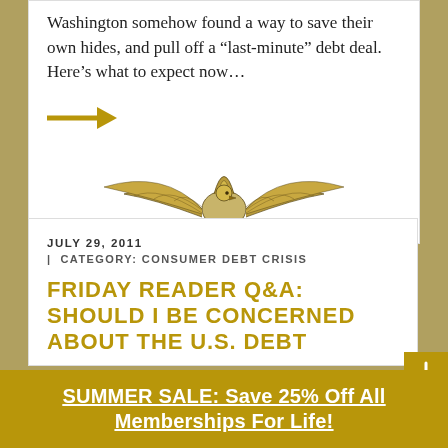Washington somehow found a way to save their own hides, and pull off a “last-minute” debt deal. Here’s what to expect now…
[Figure (illustration): Gold arrow pointing right, followed by a decorative engraved eagle/crest illustration at the bottom of the card]
JULY 29, 2011
| CATEGORY: CONSUMER DEBT CRISIS
FRIDAY READER Q&A: SHOULD I BE CONCERNED ABOUT THE U.S. DEBT
[Figure (illustration): Gold square download button with downward arrow icon]
SUMMER SALE: Save 25% Off All Memberships For Life!